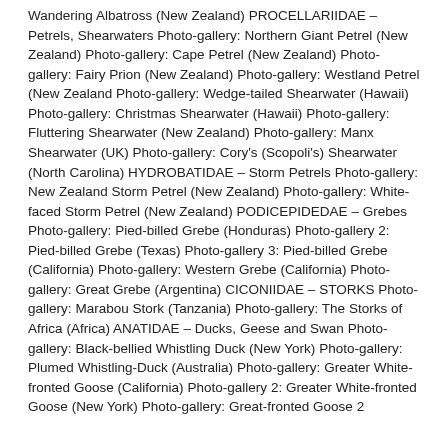Wandering Albatross (New Zealand) PROCELLARIIDAE – Petrels, Shearwaters Photo-gallery: Northern Giant Petrel (New Zealand) Photo-gallery: Cape Petrel (New Zealand) Photo-gallery: Fairy Prion (New Zealand) Photo-gallery: Westland Petrel (New Zealand Photo-gallery: Wedge-tailed Shearwater (Hawaii) Photo-gallery: Christmas Shearwater (Hawaii) Photo-gallery: Fluttering Shearwater (New Zealand) Photo-gallery: Manx Shearwater (UK) Photo-gallery: Cory's (Scopoli's) Shearwater (North Carolina) HYDROBATIDAE – Storm Petrels Photo-gallery: New Zealand Storm Petrel (New Zealand) Photo-gallery: White-faced Storm Petrel (New Zealand) PODICEPIDEDAE – Grebes Photo-gallery: Pied-billed Grebe (Honduras) Photo-gallery 2: Pied-billed Grebe (Texas) Photo-gallery 3: Pied-billed Grebe (California) Photo-gallery: Western Grebe (California) Photo-gallery: Great Grebe (Argentina) CICONIIDAE – STORKS Photo-gallery: Marabou Stork (Tanzania) Photo-gallery: The Storks of Africa (Africa) ANATIDAE – Ducks, Geese and Swan Photo-gallery: Black-bellied Whistling Duck (New York) Photo-gallery: Plumed Whistling-Duck (Australia) Photo-gallery: Greater White-fronted Goose (California) Photo-gallery 2: Greater White-fronted Goose (New York) Photo-gallery: Great-fronted Goose 2